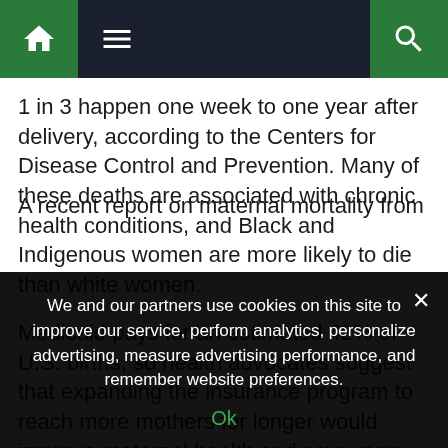[Navigation bar with home, menu, and search icons]
1 in 3 happen one week to one year after delivery, according to the Centers for Disease Control and Prevention. Many of these deaths are associated with chronic health conditions, and Black and Indigenous women are more likely to die than white women.
Medicaid pays for an estimated 42% of U.S. births, so health advocates suggest that expanding the insurance program to reach more mothers for longer would improve maternal health and save more lives.
A recent report on maternal mortality from Tennessee's
We and our partners use cookies on this site to improve our service, perform analytics, personalize advertising, measure advertising performance, and remember website preferences.
Ok